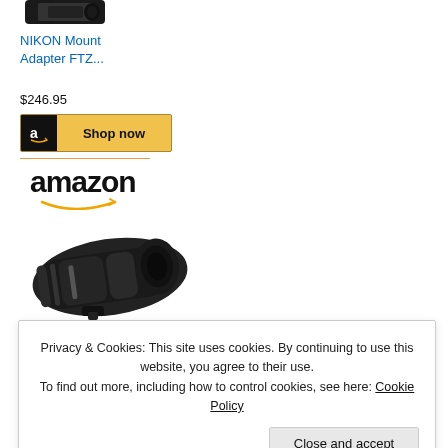[Figure (photo): Partial image of a black camera mount adapter at the top of the page]
NIKON Mount Adapter FTZ...
$246.95
[Figure (screenshot): Amazon 'Shop now' button with Amazon logo icon on black background and gold/yellow button]
[Figure (logo): Amazon logo with arrow/smile underneath]
[Figure (photo): Black telephoto camera lens (NIKON NIKKOR) shown at an angle]
NIKON NIKKOR
Privacy & Cookies: This site uses cookies. By continuing to use this website, you agree to their use.
To find out more, including how to control cookies, see here: Cookie Policy
Close and accept